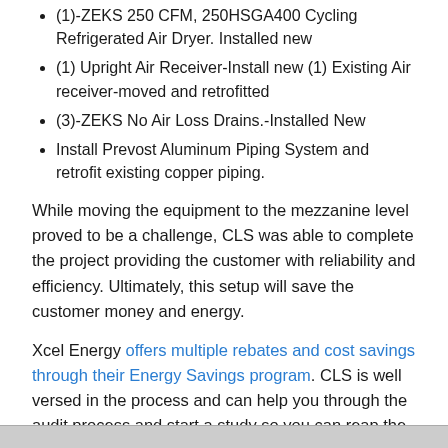(1)-ZEKS 250 CFM, 250HSGA400 Cycling Refrigerated Air Dryer. Installed new
(1) Upright Air Receiver-Install new (1) Existing Air receiver-moved and retrofitted
(3)-ZEKS No Air Loss Drains.-Installed New
Install Prevost Aluminum Piping System and retrofit existing copper piping.
While moving the equipment to the mezzanine level proved to be a challenge, CLS was able to complete the project providing the customer with reliability and efficiency. Ultimately, this setup will save the customer money and energy.
Xcel Energy offers multiple rebates and cost savings through their Energy Savings program. CLS is well versed in the process and can help you through the audit process and start a study so you can reap the huge benefits of this program.